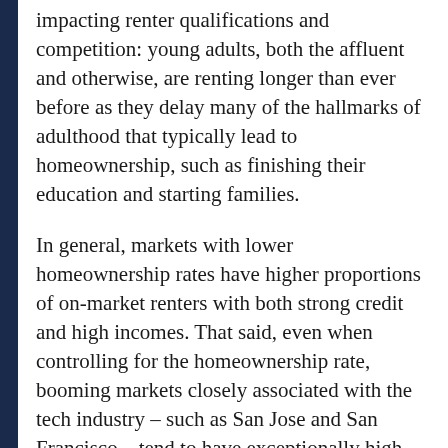impacting renter qualifications and competition: young adults, both the affluent and otherwise, are renting longer than ever before as they delay many of the hallmarks of adulthood that typically lead to homeownership, such as finishing their education and starting families.
In general, markets with lower homeownership rates have higher proportions of on-market renters with both strong credit and high incomes. That said, even when controlling for the homeownership rate, booming markets closely associated with the tech industry – such as San Jose and San Francisco – tend to have exceptionally high proportions of highly qualified, on-market renters.
At the other extreme, markets that tend to have